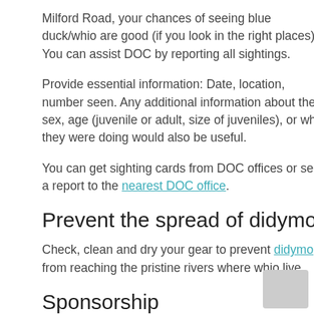Milford Road, your chances of seeing blue duck/whio are good (if you look in the right places). You can assist DOC by reporting all sightings.
Provide essential information: Date, location, number seen. Any additional information about their sex, age (juvenile or adult, size of juveniles), or what they were doing would also be useful.
You can get sighting cards from DOC offices or send a report to the nearest DOC office.
Prevent the spread of didymo
Check, clean and dry your gear to prevent didymo from reaching the pristine rivers where whio live.
Sponsorship
This project is funded by: